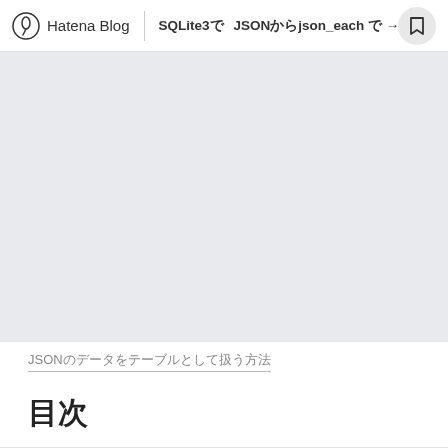Hatena Blog | SQLite3で JSONからjson_each で →
[Figure (other): Grey hero/banner image area]
JSONのデータをテーブルとして扱う方法
目次